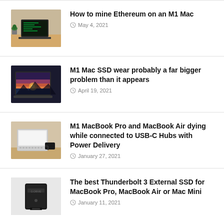How to mine Ethereum on an M1 Mac
May 4, 2021
M1 Mac SSD wear probably a far bigger problem than it appears
April 19, 2021
M1 MacBook Pro and MacBook Air dying while connected to USB-C Hubs with Power Delivery
January 27, 2021
The best Thunderbolt 3 External SSD for MacBook Pro, MacBook Air or Mac Mini
January 11, 2021
MacBook Pro Beep Error Codes